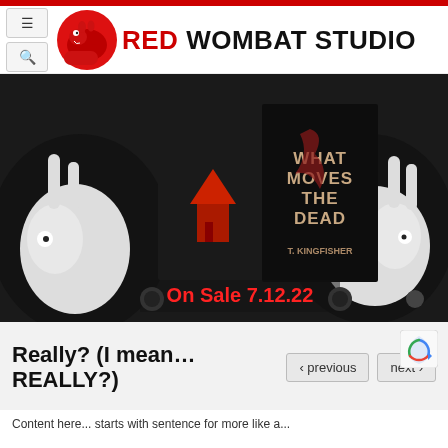[Figure (logo): Red Wombat Studio website header with red wombat mascot logo and bold site title text]
[Figure (photo): Banner image showing book covers for a horror novel 'What Moves the Dead' by T. Kingfisher, with illustrated rabbits on black and white background and red text 'On Sale 7.12.22']
Really? (I mean… REALLY?)
previous   next
Content begins with a sentence fragment for more like a...